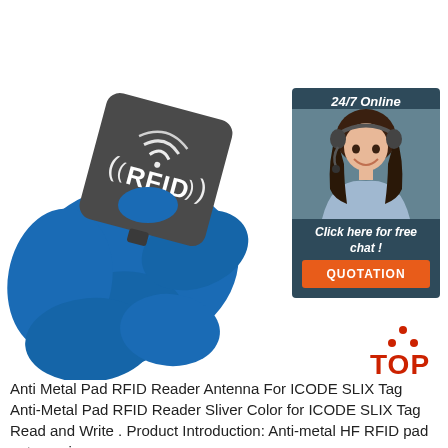[Figure (photo): RFID silicone wristband with dark grey square RFID chip module labeled '((RFID))' on a blue silicone band, shown on white background]
[Figure (infographic): 24/7 Online customer service widget showing a woman with headset, text 'Click here for free chat!' and an orange QUOTATION button]
[Figure (logo): TOP logo with red dots triangle above the word TOP in red letters]
Anti Metal Pad RFID Reader Antenna For ICODE SLIX Tag
Anti-Metal Pad RFID Reader Sliver Color for ICODE SLIX Tag Read and Write . Product Introduction: Anti-metal HF RFID pad antenna is